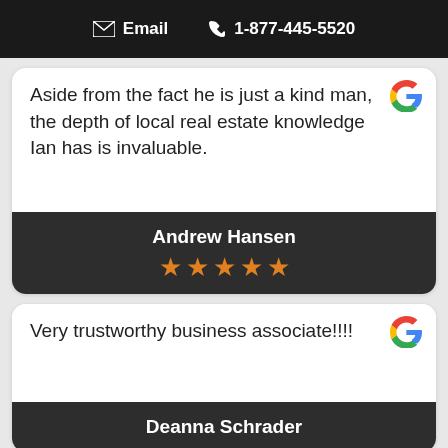Email  1-877-445-5520
Aside from the fact he is just a kind man, the depth of local real estate knowledge Ian has is invaluable.
Andrew Hansen
★★★★★
Very trustworthy business associate!!!!
Deanna Schrader